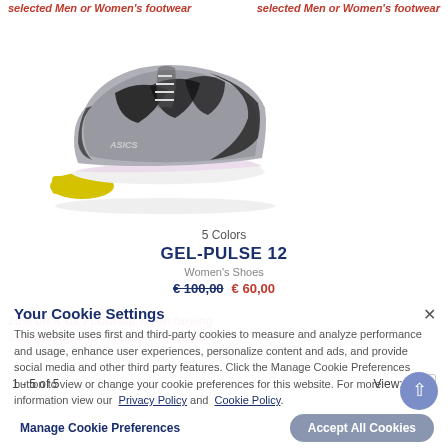selected Men or Women's footwear   selected Men or Women's footwear
[Figure (photo): ASICS GEL-PULSE 12 running shoe in grey/black/yellow colorway, side view on white background]
5 Colors
GEL-PULSE 12
Women's Shoes
€ 100,00  € 60,00
20% off Kids Footwear when buying selected Men or Women's footwear
Your Cookie Settings
This website uses first and third-party cookies to measure and analyze performance and usage, enhance user experiences, personalize content and ads, and provide social media and other third party features. Click the Manage Cookie Preferences button to view or change your cookie preferences for this website. For more information view our Privacy Policy and Cookie Policy.
1 - 5 of 5
View:  24
Manage Cookie Preferences
Accept All Cookies